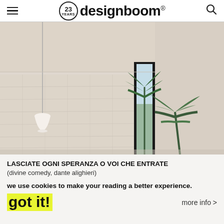designboom® — 23 YEARS
[Figure (photo): Interior room with textured white/cream stone wall, hanging white pendant lamp on the left, large black-framed glass door/window in the center-right revealing an outdoor palm tree, warm beige ceiling.]
LASCIATE OGNI SPERANZA O VOI CHE ENTRATE
(divine comedy, dante alighieri)
we use cookies to make your reading a better experience.
got it!
more info >